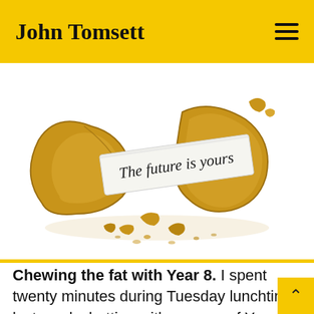John Tomsett
[Figure (photo): A broken fortune cookie with a slip of paper reading 'The future is yours' emerging from it, crumbs scattered around, on a white background.]
Chewing the fat with Year 8. I spent twenty minutes during Tuesday lunchtime last week chatting with a group of Year 8 girls who were sat outside on the benches at the back of the learning resource cent